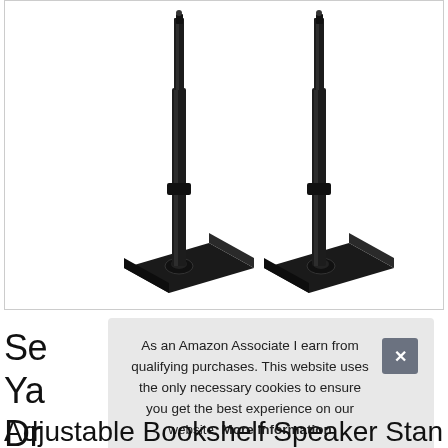[Figure (photo): Two black adjustable bookshelf speaker stands with square bases and telescoping poles, shown on white background]
Se Ya Dr Adjustable Bookshelf Speaker Stand
As an Amazon Associate I earn from qualifying purchases. This website uses the only necessary cookies to ensure you get the best experience on our website. More information